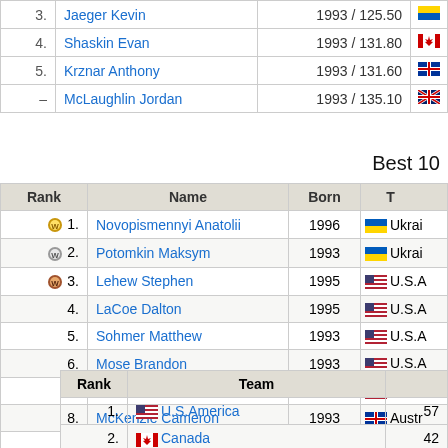| Rank | Name | Born | Team |
| --- | --- | --- | --- |
| 3. | Jaeger Kevin | 1993 / 125.50 |  |
| 4. | Shaskin Evan | 1993 / 131.80 | Canada |
| 5. | Krznar Anthony | 1993 / 131.60 | Australia |
| - | McLaughlin Jordan | 1993 / 135.10 | UK |
Best 10
| Rank | Name | Born | Team |
| --- | --- | --- | --- |
| 1. | Novopismennyi Anatolii | 1996 | Ukraine |
| 2. | Potomkin Maksym | 1993 | Ukraine |
| 3. | Lehew Stephen | 1995 | U.S.America |
| 4. | LaCoe Dalton | 1995 | U.S.America |
| 5. | Sohmer Matthew | 1993 | U.S.America |
| 6. | Mose Brandon | 1993 | U.S.America |
| 7. | Askow Andrew | 1994 | U.S.America |
| 8. | McKenzie Cameron | 1993 | Australia |
| 9. | Berglund Eddie | 1995 | Sweden |
| 10. | Sadowski Piotr | 1993 | Poland |
| Rank | Team |  |
| --- | --- | --- |
| 1. | U.S.America | 57 |
| 2. | Canada | 42 |
| 3. | Australia | 37 |